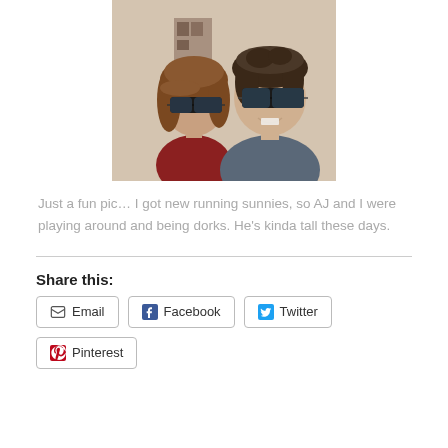[Figure (photo): Two people wearing sunglasses posing together indoors — a woman with medium-length brown hair on the left and a taller teenage boy on the right wearing a gray t-shirt.]
Just a fun pic… I got new running sunnies, so AJ and I were playing around and being dorks. He's kinda tall these days.
Share this:
Email | Facebook | Twitter | Pinterest